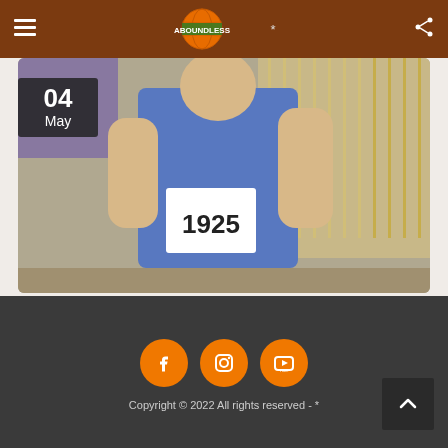Aboundless — site header with menu, logo, and share icon
[Figure (photo): Runner wearing a blue tank top with race bib number 1925, running at an indoor track event. Date badge shows 04 May in top left.]
Joanne's Story
Copyright © 2022 All rights reserved - *